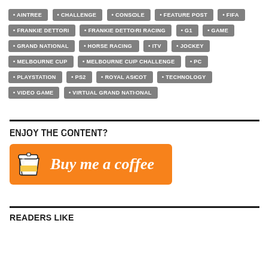AINTREE
CHALLENGE
CONSOLE
FEATURE POST
FIFA
FRANKIE DETTORI
FRANKIE DETTORI RACING
G1
GAME
GRAND NATIONAL
HORSE RACING
ITV
JOCKEY
MELBOURNE CUP
MELBOURNE CUP CHALLENGE
PC
PLAYSTATION
PS2
ROYAL ASCOT
TECHNOLOGY
VIDEO GAME
VIRTUAL GRAND NATIONAL
ENJOY THE CONTENT?
[Figure (illustration): Buy me a coffee button - orange rectangle with coffee cup icon and text 'Buy me a coffee' in white italic font]
READERS LIKE